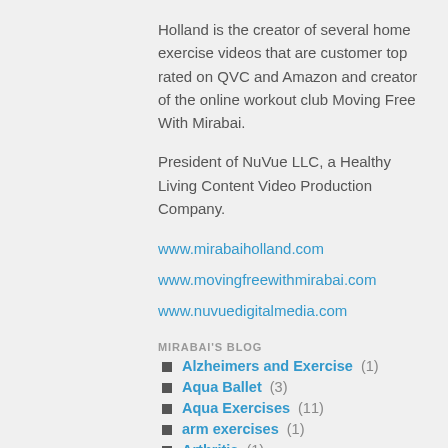Holland is the creator of several home exercise videos that are customer top rated on QVC and Amazon and creator of the online workout club Moving Free With Mirabai.
President of NuVue LLC, a Healthy Living Content Video Production Company.
www.mirabaiholland.com
www.movingfreewithmirabai.com
www.nuvuedigitalmedia.com
MIRABAI'S BLOG
Alzheimers and Exercise (1)
Aqua Ballet (3)
Aqua Exercises (11)
arm exercises (1)
Arthritis (1)
Asthma and Exercise (1)
athletic shoes (1)